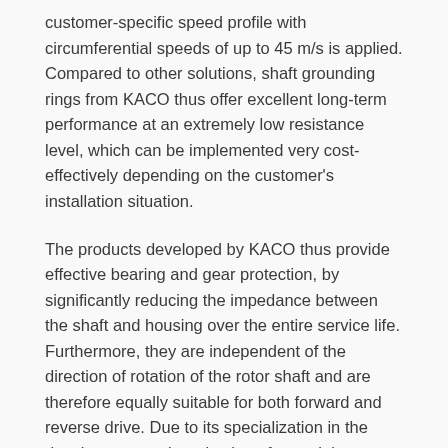customer-specific speed profile with circumferential speeds of up to 45 m/s is applied. Compared to other solutions, shaft grounding rings from KACO thus offer excellent long-term performance at an extremely low resistance level, which can be implemented very cost-effectively depending on the customer's installation situation.
The products developed by KACO thus provide effective bearing and gear protection, by significantly reducing the impedance between the shaft and housing over the entire service life. Furthermore, they are independent of the direction of rotation of the rotor shaft and are therefore equally suitable for both forward and reverse drive. Due to its specialization in the development and production of a modular system of grounding rings, KACO is recognized as a technology leader and